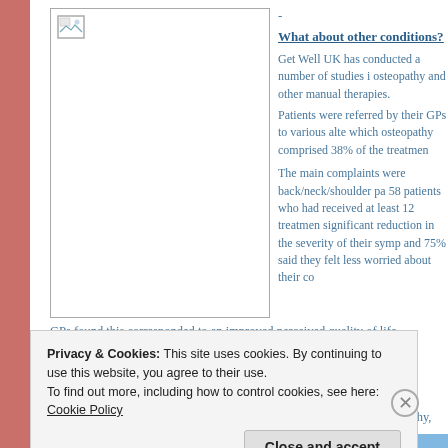[Figure (photo): Placeholder image box with broken image icon in top-left corner]
-
What about other conditions?
Get Well UK has conducted a number of studies in osteopathy and other manual therapies.
Patients were referred by their GPs to various alternative therapies, of which osteopathy comprised 38% of the treatments.
The main complaints were back/neck/shoulder pain. 58 patients who had received at least 12 treatments showed a significant reduction in the severity of their symptoms and 75% said they felt less worried about their condition.
GPs found this corresponded to an improved perceived quality of life, symptoms.
Here is a link to their website with more information:
Get Well UK
There have also been other studies which support the efficacy of osteopathy, wh
Privacy & Cookies: This site uses cookies. By continuing to use this website, you agree to their use. To find out more, including how to control cookies, see here: Cookie Policy
Close and accept